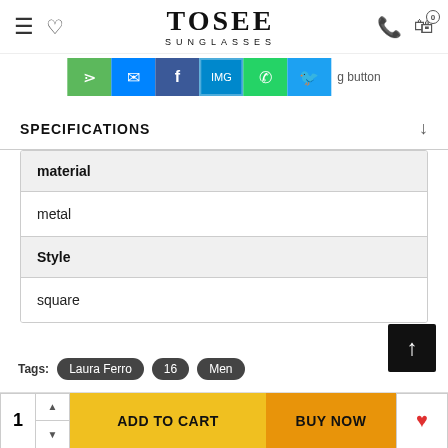TOSEE SUNGLASSES
[Figure (screenshot): Social share bar with share, Messenger, Facebook, Telegram, WhatsApp, Twitter buttons and 'g button' text]
SPECIFICATIONS
| material |
| metal |
| Style |
| square |
Tags: Laura Ferro  16  Men
1  ADD TO CART  BUY NOW